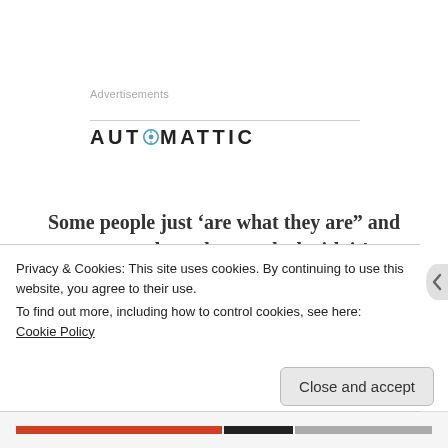Advertisements
[Figure (logo): Automattic logo with compass icon replacing the letter O]
Some people just ‘are what they are” and we must learn how to deal with it!
1. Step number one we need to keep
Privacy & Cookies: This site uses cookies. By continuing to use this website, you agree to their use.
To find out more, including how to control cookies, see here: Cookie Policy